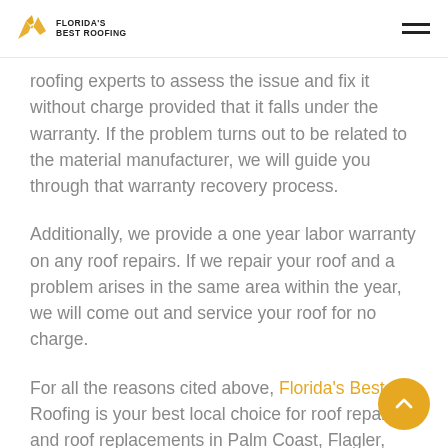Florida's Best Roofing
roofing experts to assess the issue and fix it without charge provided that it falls under the warranty. If the problem turns out to be related to the material manufacturer, we will guide you through that warranty recovery process.
Additionally, we provide a one year labor warranty on any roof repairs. If we repair your roof and a problem arises in the same area within the year, we will come out and service your roof for no charge.
For all the reasons cited above, Florida's Best Roofing is your best local choice for roof repairs and roof replacements in Palm Coast, Flagler, Bunnell, Ormond, and Daytona Beach!